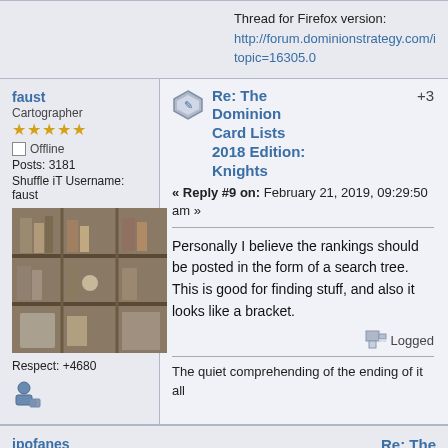Thread for Firefox version: http://forum.dominionstrategy.com/index.php?topic=16305.0
faust
Cartographer
Offline
Posts: 3181
Shuffle iT Username: faust
Respect: +4680
[Figure (photo): Avatar image of a cluttered wooden shelf/storage area]
Re: The Dominion Card Lists 2018 Edition: Knights
« Reply #9 on: February 21, 2019, 09:29:50 am »
+3
Personally I believe the rankings should be posted in the form of a search tree. This is good for finding stuff, and also it looks like a bracket.
Logged
The quiet comprehending of the ending of it all
jpofanes